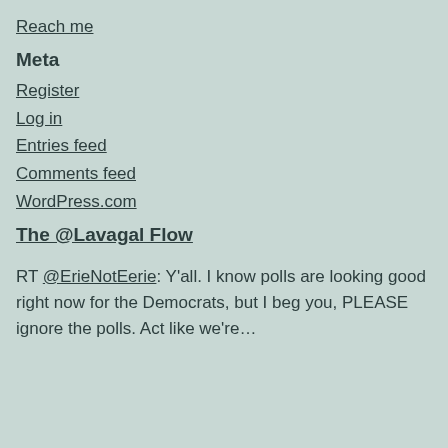Reach me
Meta
Register
Log in
Entries feed
Comments feed
WordPress.com
The @Lavagal Flow
RT @ErieNotEerie: Y'all. I know polls are looking good right now for the Democrats, but I beg you, PLEASE ignore the polls. Act like we're…